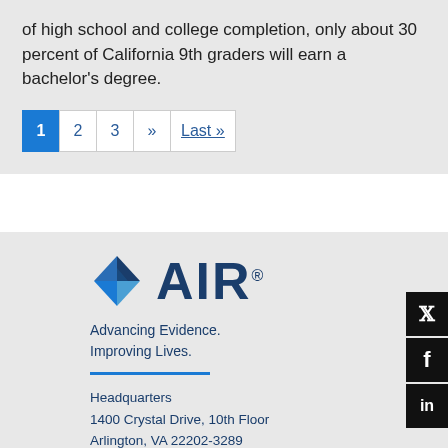of high school and college completion, only about 30 percent of California 9th graders will earn a bachelor's degree.
[Figure (other): Pagination navigation bar with page 1 active (blue button), followed by pages 2, 3, >> and Last »]
[Figure (logo): AIR (American Institutes for Research) logo with diamond shape icon and tagline 'Advancing Evidence. Improving Lives.']
Headquarters
1400 Crystal Drive, 10th Floor
Arlington, VA 22202-3289